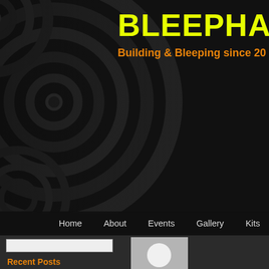[Figure (screenshot): Dark website header with decorative speaker concentric circles on the left, site title BLEEPHAUS in yellow on dark background, tagline in orange]
BLEEPHAUS
Building & Bleeping since 20...
Home  About  Events  Gallery  Kits
leechaos
[Figure (photo): Default grey avatar/profile image with white silhouette person icon]
Recent Posts
We are SO BAD at updating this site!
Bleephaus back for 2017
Bleephaus stage at FrogFest, 20/9/14
BLEEPHAUS III – 21st June 2014
BLEEPHAUS presents DRONEHAUS, May 10th
We are SO BAD at upda...
Published June 3, 2018 | By leechaos